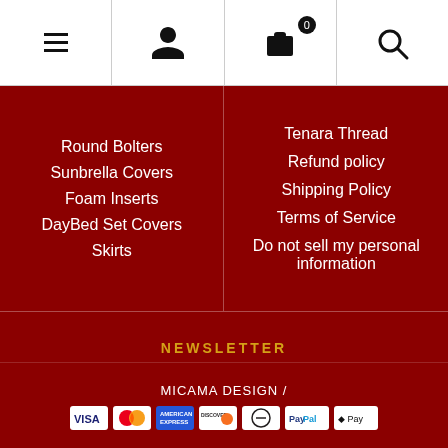Navigation bar with menu, account, cart (0), and search icons
Round Bolters
Sunbrella Covers
Foam Inserts
DayBed Set Covers
Skirts
Tenara Thread
Refund policy
Shipping Policy
Terms of Service
Do not sell my personal information
NEWSLETTER
Your email
OK
MICAMA DESIGN /
[Figure (other): Payment method logos: VISA, MasterCard, American Express, Discover, Diners Club, PayPal, Apple Pay]